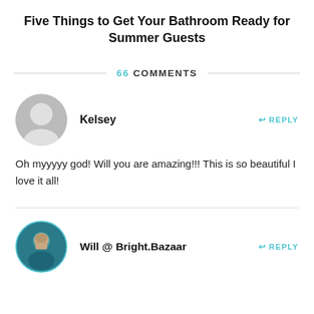Five Things to Get Your Bathroom Ready for Summer Guests
66 COMMENTS
Kelsey
Oh myyyyy god! Will you are amazing!!! This is so beautiful I love it all!
Will @ Bright.Bazaar